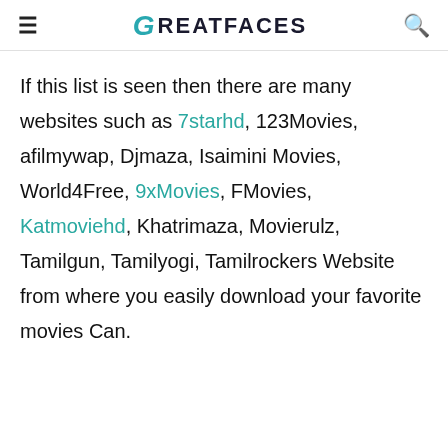GREATFACES
If this list is seen then there are many websites such as 7starhd, 123Movies, afilmywap, Djmaza, Isaimini Movies, World4Free, 9xMovies, FMovies, Katmoviehd, Khatrimaza, Movierulz, Tamilgun, Tamilyogi, Tamilrockers Website from where you easily download your favorite movies Can.